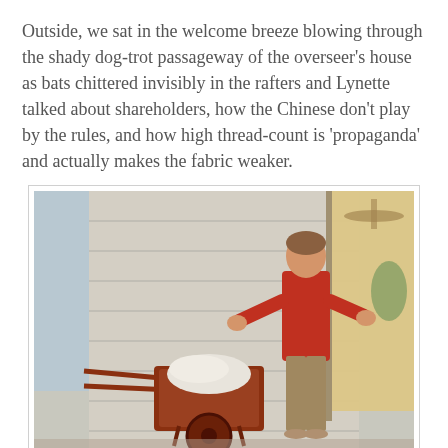Outside, we sat in the welcome breeze blowing through the shady dog-trot passageway of the overseer's house as bats chittered invisibly in the rafters and Lynette talked about shareholders, how the Chinese don't play by the rules, and how high thread-count is 'propaganda' and actually makes the fabric weaker.
[Figure (photo): A woman in a red shirt standing in a doorway of a rustic white-painted wooden building, with a wheelbarrow containing white fabric or linens visible in the foreground.]
And we ended the day in Alexandria, in the Baroque opulence of the Hotel Bentley with its marble,